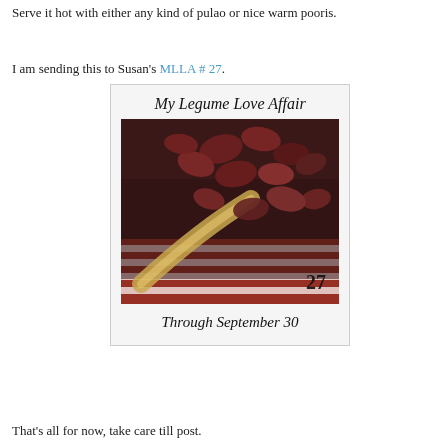Serve it hot with either any kind of pulao or nice warm pooris.
I am sending this to Susan's MLLA # 27.
[Figure (illustration): Badge/promotional image for 'My Legume Love Affair' event number 27. Shows a photo of dark red kidney beans on a striped red and white cloth with a spoon, with decorative handwritten text 'My Legume Love Affair' at top, number '27' overlaid on the photo, and 'Through September 30' at bottom. White bordered card style.]
That's all for now, take care till post.